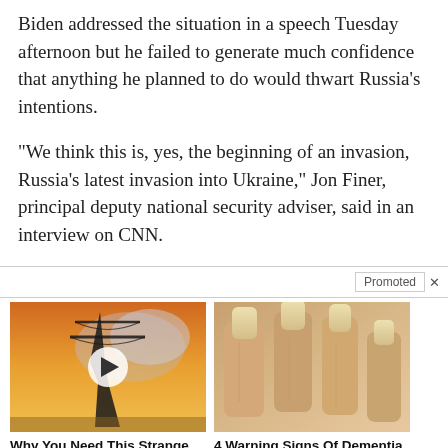Biden addressed the situation in a speech Tuesday afternoon but he failed to generate much confidence that anything he planned to do would thwart Russia’s intentions.
“We think this is, yes, the beginning of an invasion, Russia’s latest invasion into Ukraine,” Jon Finer, principal deputy national security adviser, said in an interview on CNN.
[Figure (other): Promoted ad widget with two advertisement items: 1) Video ad with electric pylon image titled 'Why You Need This Strange Device When The Grid Goes Down' with 7,650 engagement count. 2) Ad with close-up of fingers/nails titled '4 Warning Signs Of Dementia (#2 Is Creepy)' with 31,670 engagement count.]